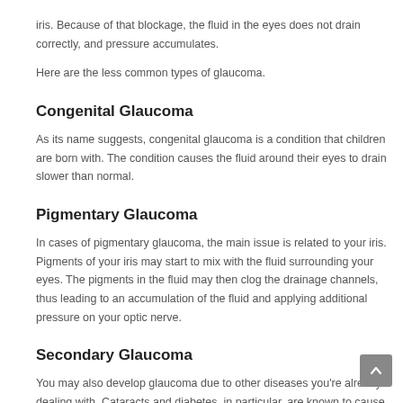iris. Because of that blockage, the fluid in the eyes does not drain correctly, and pressure accumulates.
Here are the less common types of glaucoma.
Congenital Glaucoma
As its name suggests, congenital glaucoma is a condition that children are born with. The condition causes the fluid around their eyes to drain slower than normal.
Pigmentary Glaucoma
In cases of pigmentary glaucoma, the main issue is related to your iris. Pigments of your iris may start to mix with the fluid surrounding your eyes. The pigments in the fluid may then clog the drainage channels, thus leading to an accumulation of the fluid and applying additional pressure on your optic nerve.
Secondary Glaucoma
You may also develop glaucoma due to other diseases you're already dealing with. Cataracts and diabetes, in particular, are known to cause the development of secondary glaucoma.